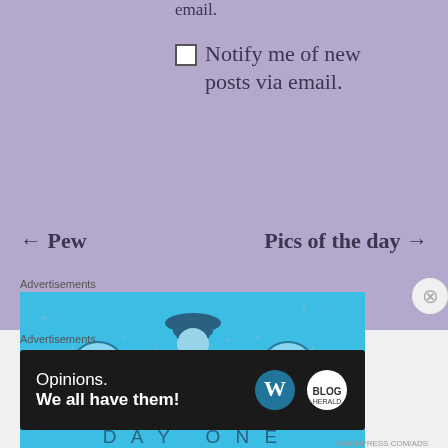email.
Notify me of new posts via email.
← Pew
Pics of the day →
Advertisements
[Figure (illustration): Day One app advertisement with blue background, showing a person holding a phone, flanked by two circular icons (blank notebook and lined notebook). Text reads 'DAY ONE' and 'The only journaling']
Advertisements
[Figure (illustration): Dark advertisement banner reading 'Opinions. We all have them!' with WordPress and another logo on the right side.]